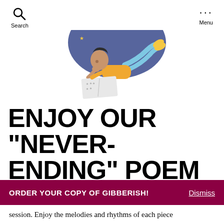Search  Menu
[Figure (illustration): Illustration of a young woman lying on her stomach, reading a book, surrounded by stars, a crescent moon, and clouds on a dark blue background. She wears a yellow top and blue shorts.]
ENJOY OUR “NEVER-ENDING” POEM FROM RIFF
ORDER YOUR COPY OF GIBBERISH!  Dismiss
session. Enjoy the melodies and rhythms of each piece